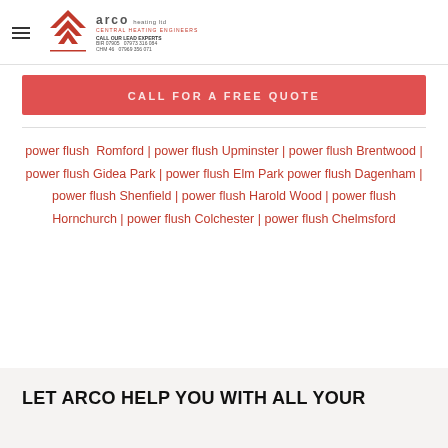arco heating ltd — CENTRAL HEATING ENGINEERS
[Figure (logo): Arco Heating Ltd logo with red A-shaped chevron mark and company name, central heating engineers]
CALL FOR A FREE QUOTE
power flush Romford | power flush Upminster | power flush Brentwood | power flush Gidea Park | power flush Elm Park power flush Dagenham | power flush Shenfield | power flush Harold Wood | power flush Hornchurch | power flush Colchester | power flush Chelmsford
LET ARCO HELP YOU WITH ALL YOUR